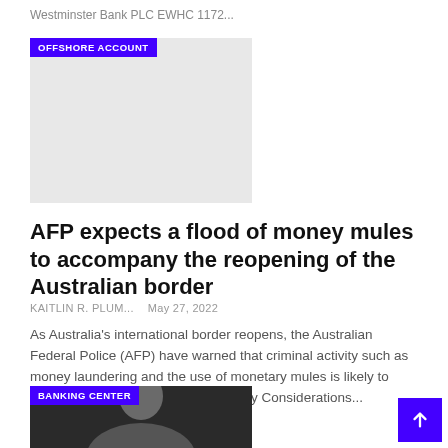Westminster Bank PLC EWHC 1172...
[Figure (photo): Image placeholder with OFFSHORE ACCOUNT badge overlay, light grey background]
AFP expects a flood of money mules to accompany the reopening of the Australian border
KAITLIN R. PLUM...   May 27, 2022
As Australia's international border reopens, the Australian Federal Police (AFP) have warned that criminal activity such as money laundering and the use of monetary mules is likely to increase. This article explores the Key Considerations...
[Figure (photo): Person photo with BANKING CENTER badge overlay, dark background showing a man's face and shoulders]